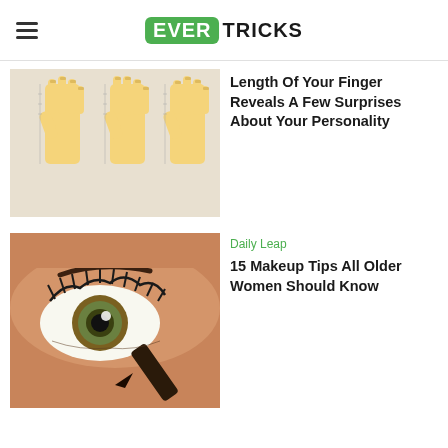EVER TRICKS
[Figure (illustration): Three illustrated hands showing different finger lengths on a light yellowish background]
Length Of Your Finger Reveals A Few Surprises About Your Personality
[Figure (photo): Close-up photo of a woman's eye with long lashes and an eyeliner pencil being applied]
Daily Leap
15 Makeup Tips All Older Women Should Know